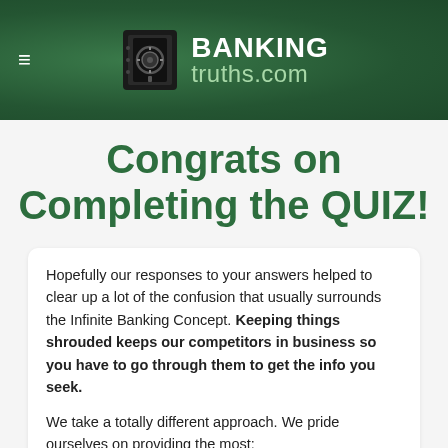BANKING truths.com
Congrats on Completing the QUIZ!
Hopefully our responses to your answers helped to clear up a lot of the confusion that usually surrounds the Infinite Banking Concept. Keeping things shrouded keeps our competitors in business so you have to go through them to get the info you seek.
We take a totally different approach. We pride ourselves on providing the most: